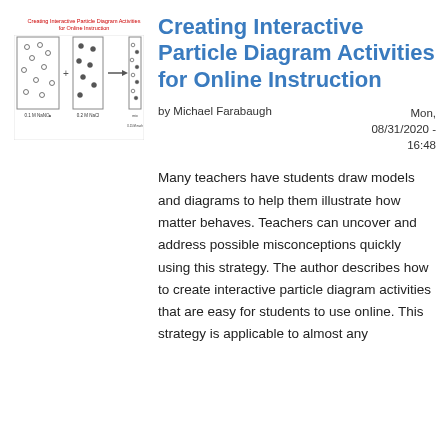[Figure (illustration): Thumbnail image showing particle diagrams with title 'Creating Interactive Particle Diagram Activities for Online Instruction' in red text above a diagram illustration showing containers with particles and a plus sign and arrow between them, labeled with chemical formulas]
Creating Interactive Particle Diagram Activities for Online Instruction
by Michael Farabaugh
Mon, 08/31/2020 - 16:48
Many teachers have students draw models and diagrams to help them illustrate how matter behaves. Teachers can uncover and address possible misconceptions quickly using this strategy. The author describes how to create interactive particle diagram activities that are easy for students to use online. This strategy is applicable to almost any